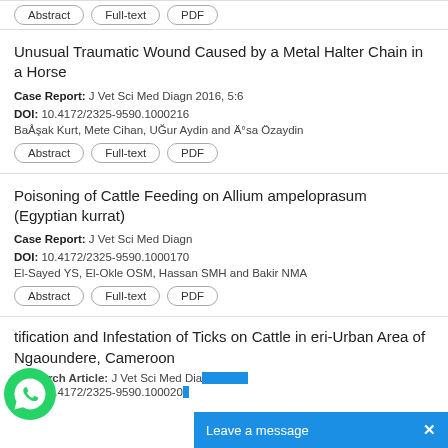[stub buttons at top]
Unusual Traumatic Wound Caused by a Metal Halter Chain in a Horse
Case Report: J Vet Sci Med Diagn 2016, 5:6
DOI: 10.4172/2325-9590.1000216
BaÅşak Kurt, Mete Cihan, UĞur Aydin and Ä°sa Özaydin
Abstract | Full-text | PDF
Poisoning of Cattle Feeding on Allium ampeloprasum (Egyptian kurrat)
Case Report: J Vet Sci Med Diagn
DOI: 10.4172/2325-9590.1000170
El-Sayed YS, El-Okle OSM, Hassan SMH and Bakir NMA
Abstract | Full-text | PDF
tification and Infestation of Ticks on Cattle in eri-Urban Area of Ngaoundere, Cameroon
Research Article: J Vet Sci Med Dia... 2016, 5:...
DOI: 10.4172/2325-9590.100020...